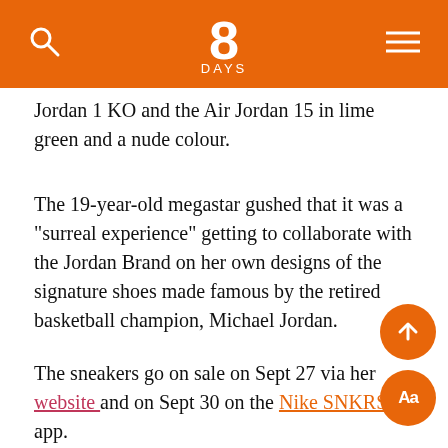8 DAYS
Jordan 1 KO and the Air Jordan 15 in lime green and a nude colour.
The 19-year-old megastar gushed that it was a "surreal experience" getting to collaborate with the Jordan Brand on her own designs of the signature shoes made famous by the retired basketball champion, Michael Jordan.
The sneakers go on sale on Sept 27 via her website and on Sept 30 on the Nike SNKRS app.
Alongside two promo snaps of her wearing the footw... Billie wrote on Instagram: "i am SO excited to finally sh... my two air jordan silhouettes with you!! i've always loved